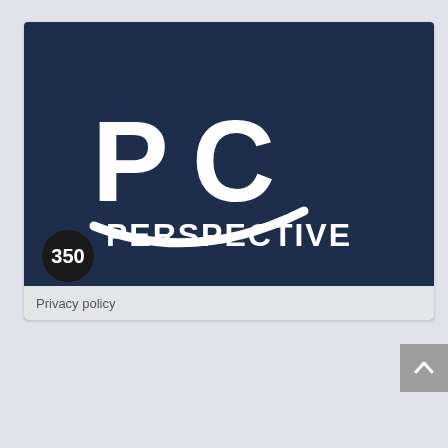[Figure (logo): PC Perspective logo on dark navy blue background with white stylized 'PC' letters and a swoosh curve, with text 'PERSPECTIVE' below in bold white capitals. A black circular badge with '350' overlaid at bottom left. A 'Privacy policy' label at the very bottom.]
350
Privacy policy